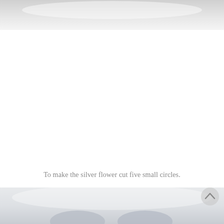[Figure (photo): Top portion of a light grey/white crafting or instructional photo, showing a soft pale background, partially cropped at top of page.]
To make the silver flower cut five small circles.
[Figure (photo): Bottom portion of a light grey/white crafting photo showing small silver/grey circle shapes on a pale background. A navigation chevron-up button is visible in the upper right corner of the image.]